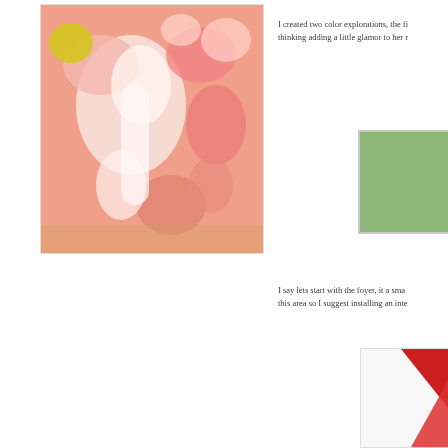[Figure (illustration): Abstract painting with swirling shapes in pink, orange, yellow, white tones]
I created two color explorations, the fi... thinking adding a little glamor to her r...
[Figure (illustration): Green color swatch with border]
I say lets start with the foyer, it a smal... this area so I suggest installing an inte...
[Figure (illustration): Red geometric artwork partially visible]